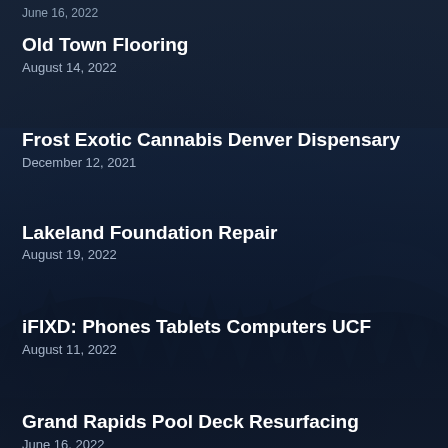June 16, 2022
Old Town Flooring
August 14, 2022
Frost Exotic Cannabis Denver Dispensary
December 12, 2021
Lakeland Foundation Repair
August 19, 2022
iFIXD: Phones Tablets Computers UCF
August 11, 2022
Grand Rapids Pool Deck Resurfacing
June 16, 2022